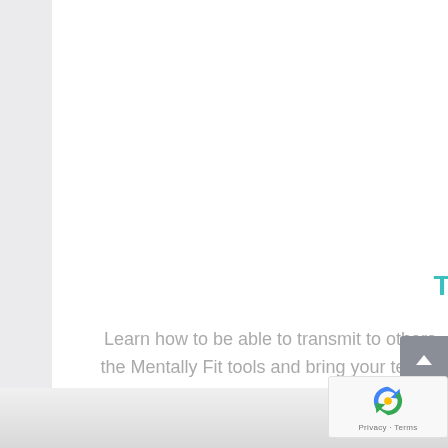Training
Learn how to be able to transmit to others the Mentally Fit tools and bring your teams towards peak performance.